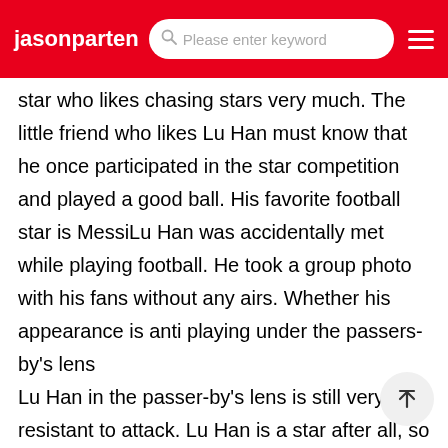jasonparten  Please enter keyword
star who likes chasing stars very much. The little friend who likes Lu Han must know that he once participated in the star competition and played a good ball. His favorite football star is MessiLu Han was accidentally met while playing football. He took a group photo with his fans without any airs. Whether his appearance is anti playing under the passers-by's lens
Lu Han in the passer-by's lens is still very resistant to attack. Lu Han is a star after all, so he also pays great attention to his maintenance. Lu Han not only has a very high appearance, but also has a very good personality and is very kind. Some netizens came across Lu Han playing football with his friendsWho are the stars playing football
Lu Han, Eason Chan, etc. Many fans also try to get in touch with football because they love it, which has led many